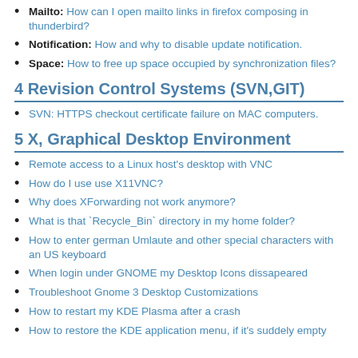Mailto: How can I open mailto links in firefox composing in thunderbird?
Notification: How and why to disable update notification.
Space: How to free up space occupied by synchronization files?
4 Revision Control Systems (SVN,GIT)
SVN: HTTPS checkout certificate failure on MAC computers.
5 X, Graphical Desktop Environment
Remote access to a Linux host's desktop with VNC
How do I use use X11VNC?
Why does XForwarding not work anymore?
What is that `Recycle_Bin` directory in my home folder?
How to enter german Umlaute and other special characters with an US keyboard
When login under GNOME my Desktop Icons dissapeared
Troubleshoot Gnome 3 Desktop Customizations
How to restart my KDE Plasma after a crash
How to restore the KDE application menu, if it's suddely empty